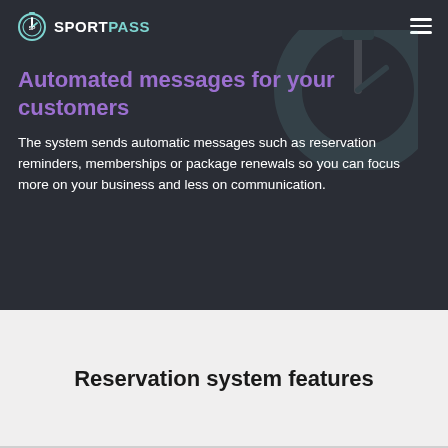[Figure (logo): SportPass logo with stopwatch icon, white SPORT and teal PASS text]
Automated messages for your customers
The system sends automatic messages such as reservation reminders, memberships or package renewals so you can focus more on your business and less on communication.
Reservation system features